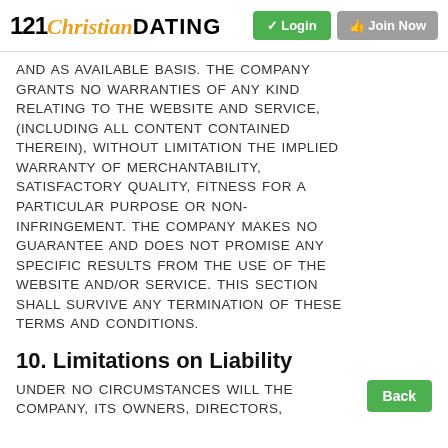121 Christian DATING — Login | Join Now
AND AS AVAILABLE BASIS. THE COMPANY GRANTS NO WARRANTIES OF ANY KIND RELATING TO THE WEBSITE AND SERVICE, (INCLUDING ALL CONTENT CONTAINED THEREIN), WITHOUT LIMITATION THE IMPLIED WARRANTY OF MERCHANTABILITY, SATISFACTORY QUALITY, FITNESS FOR A PARTICULAR PURPOSE OR NON-INFRINGEMENT. THE COMPANY MAKES NO GUARANTEE AND DOES NOT PROMISE ANY SPECIFIC RESULTS FROM THE USE OF THE WEBSITE AND/OR SERVICE. THIS SECTION SHALL SURVIVE ANY TERMINATION OF THESE TERMS AND CONDITIONS.
10. Limitations on Liability
UNDER NO CIRCUMSTANCES WILL THE COMPANY, ITS OWNERS, DIRECTORS,